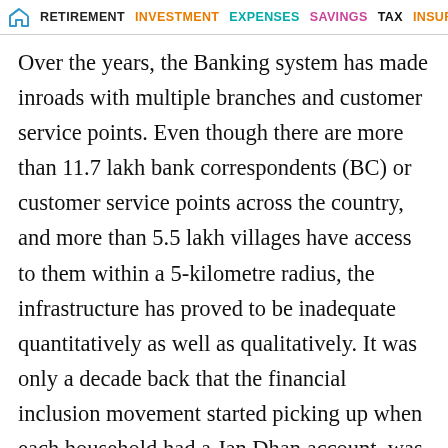🏠 RETIREMENT  INVESTMENT  EXPENSES  SAVINGS  TAX  INSURANCE
Over the years, the Banking system has made inroads with multiple branches and customer service points. Even though there are more than 11.7 lakh bank correspondents (BC) or customer service points across the country, and more than 5.5 lakh villages have access to them within a 5-kilometre radius, the infrastructure has proved to be inadequate quantitatively as well as qualitatively. It was only a decade back that the financial inclusion movement started picking up when each household had a Jan Dhan account, was registered on the Aadhar database and had